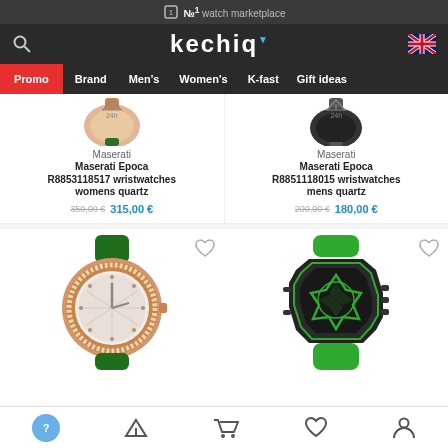№1 watch marketplace
kechiq
Promo
Brand
Men's
Women's
K-fast
Gift ideas
Maserati
Maserati Epoca R8853118517 wristwatches womens quartz
350,00 € 315,00 €
Maserati
Maserati Epoca R8851118015 wristwatches mens quartz
200,00 € 180,00 €
[Figure (photo): Rose gold women's wristwatch with diamond bezel and green leather strap]
[Figure (photo): Black and green skeleton men's wristwatch with green rubber strap]